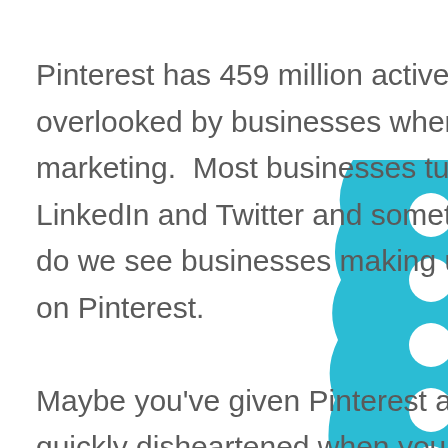Pinterest has 459 million active monthly users, but is often overlooked by businesses when it comes to social media marketing.  Most businesses turn to Facebook, Instagram, LinkedIn and Twitter and sometimes even TikTok, but rarely do we see businesses making use of the massive audience on Pinterest.

Maybe you've given Pinterest a go in the past but been quickly disheartened when your pins didn't gain traction right away, or maybe you're brand new to the world of Pinterest and looking for somewhere to begin.  Wherever you are in
[Figure (illustration): Cyan/light blue decorative vertical strip with white circular cutouts along the right side, partially visible at the right edge of the page, overlapping the text.]